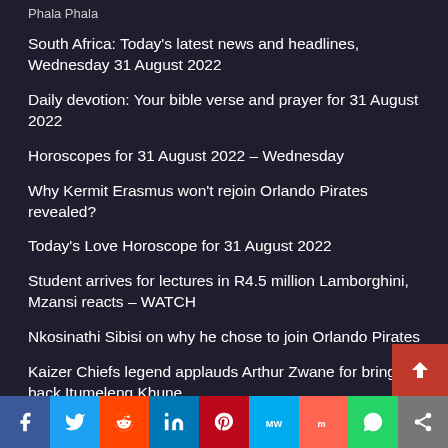Phala Phala
South Africa: Today's latest news and headlines, Wednesday 31 August 2022
Daily devotion: Your bible verse and prayer for 31 August 2022
Horoscopes for 31 August 2022 – Wednesday
Why Kermit Erasmus won't rejoin Orlando Pirates revealed?
Today's Love Horoscope for 31 August 2022
Student arrives for lectures in R4.5 million Lamborghini, Mzansi reacts – WATCH
Nkosinathi Sibisi on why he chose to join Orlando Pirates
Kaizer Chiefs legend applauds Arthur Zwane for bringing back Itumeleng Khune